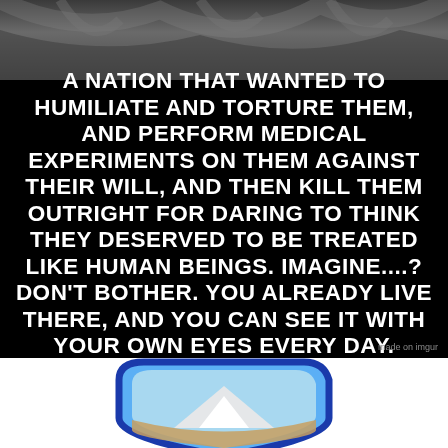[Figure (photo): Grayscale photo of draped fabric or clothing in dark tones, cropped to show upper portion only.]
A NATION THAT WANTED TO HUMILIATE AND TORTURE THEM, AND PERFORM MEDICAL EXPERIMENTS ON THEM AGAINST THEIR WILL, AND THEN KILL THEM OUTRIGHT FOR DARING TO THINK THEY DESERVED TO BE TREATED LIKE HUMAN BEINGS. IMAGINE....? DON'T BOTHER. YOU ALREADY LIVE THERE, AND YOU CAN SEE IT WITH YOUR OWN EYES EVERY DAY.
[Figure (logo): Shield-shaped emblem or badge with blue border, featuring a light blue and white interior with what appears to be a mountain and possibly a bird motif. Bottom portion is cut off.]